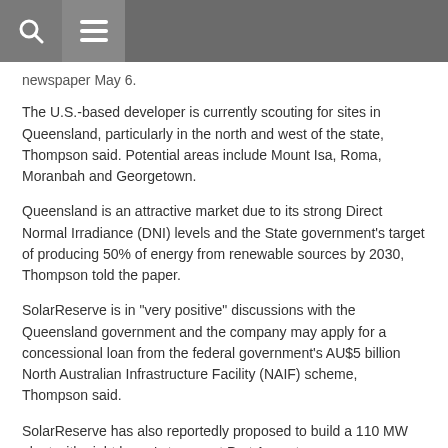newspaper May 6.
The U.S.-based developer is currently scouting for sites in Queensland, particularly in the north and west of the state, Thompson said. Potential areas include Mount Isa, Roma, Moranbah and Georgetown.
Queensland is an attractive market due to its strong Direct Normal Irradiance (DNI) levels and the State government's target of producing 50% of energy from renewable sources by 2030, Thompson told the paper.
SolarReserve is in "very positive" discussions with the Queensland government and the company may apply for a concessional loan from the federal government's AU$5 billion North Australian Infrastructure Facility (NAIF) scheme, Thompson said.
SolarReserve has also reportedly proposed to build a 110 MW plant with eight hours' storage at Port Augusta.
California renewables provide 40% of daily demand